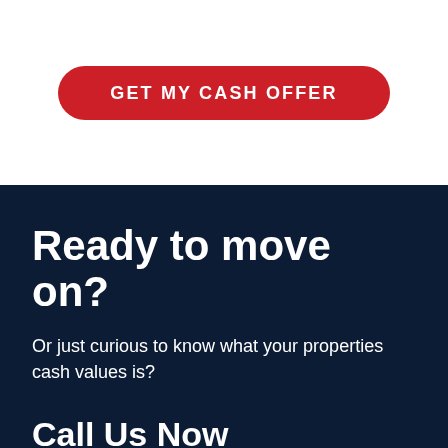GET MY CASH OFFER
Ready to move on?
Or just curious to know what your properties cash values is?
Call Us Now